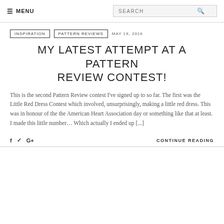≡ MENU   SEARCH
INSPIRATION   PATTERN REVIEWS   MAY 19, 2016
MY LATEST ATTEMPT AT A PATTERN REVIEW CONTEST!
This is the second Pattern Review contest I've signed up to so far. The first was the Little Red Dress Contest which involved, unsurprisingly, making a little red dress. This was in honour of the the American Heart Association day or something like that at least. I made this little number… Which actually I ended up [...]
f  ✦  G+   CONTINUE READING